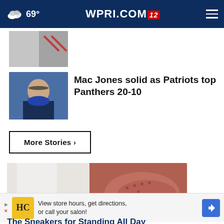69° WPRI.COM 12
[Figure (photo): Partial thumbnail image of a news story at top]
Mac Jones solid as Patriots top Panthers 20-10
[Figure (photo): Thumbnail of Mac Jones Patriots quarterback]
More Stories ›
[Figure (photo): Close-up photo of red shoes/sneakers worn with white pants]
View store hours, get directions, or call your salon!
The Sneakers for Standing All Day